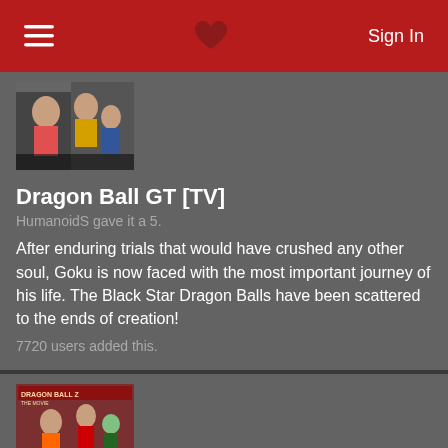Sign In
[Figure (screenshot): Anime cover image for Dragon Ball GT showing characters in action poses]
Dragon Ball GT [TV]
HumanoidS gave it a 5.
After enduring trials that would have crushed any other soul, Goku is now faced with the most important journey of his life. The Black Star Dragon Balls have been scattered to the ends of creation!
7720 users added this.
[Figure (screenshot): Anime movie cover image for a Dragon Ball movie showing characters]